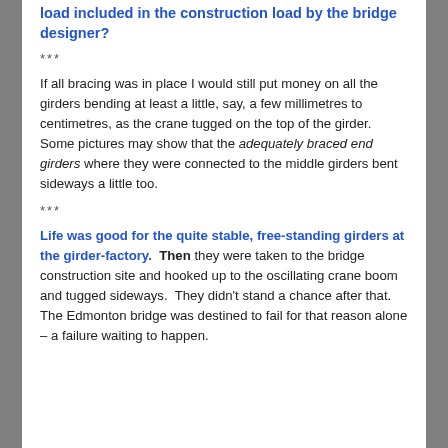load included in the construction load by the bridge designer?
***
If all bracing was in place I would still put money on all the girders bending at least a little, say, a few millimetres to centimetres, as the crane tugged on the top of the girder. Some pictures may show that the adequately braced end girders where they were connected to the middle girders bent sideways a little too.
***
Life was good for the quite stable, free-standing girders at the girder-factory. Then they were taken to the bridge construction site and hooked up to the oscillating crane boom and tugged sideways. They didn't stand a chance after that. The Edmonton bridge was destined to fail for that reason alone – a failure waiting to happen.